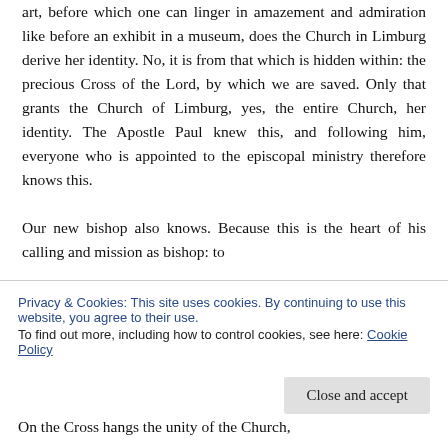art, before which one can linger in amazement and admiration like before an exhibit in a museum, does the Church in Limburg derive her identity. No, it is from that which is hidden within: the precious Cross of the Lord, by which we are saved. Only that grants the Church of Limburg, yes, the entire Church, her identity. The Apostle Paul knew this, and following him, everyone who is appointed to the episcopal ministry therefore knows this.

Our new bishop also knows. Because this is the heart of his calling and mission as bishop: to
Privacy & Cookies: This site uses cookies. By continuing to use this website, you agree to their use.
To find out more, including how to control cookies, see here: Cookie Policy
On the Cross hangs the unity of the Church,